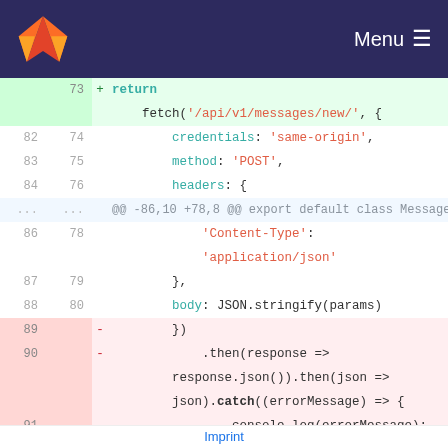GitLab — Menu
[Figure (screenshot): Code diff view showing JavaScript fetch API changes. Added lines (green background): return fetch('/api/v1/messages/new/', { credentials: 'same-origin', method: 'POST', headers: { 'Content-Type': 'application/json' }, body: JSON.stringify(params) }).then(response =>. Removed lines (red background): }), .then(response => response.json()).then(json => json).catch((errorMessage) => {, console.log(errorMessage);, });, return promise;. Context lines: credentials, method, headers, 'Content-Type', 'application/json', }, body.]
Imprint